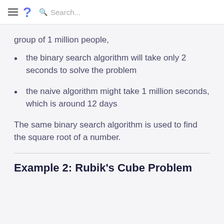≡ ? Search...
group of 1 million people,
the binary search algorithm will take only 2 seconds to solve the problem
the naive algorithm might take 1 million seconds, which is around 12 days
The same binary search algorithm is used to find the square root of a number.
Example 2: Rubik's Cube Problem